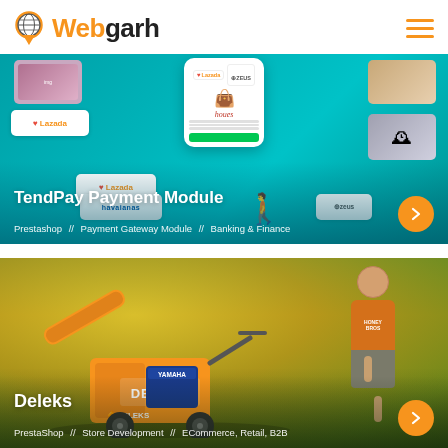Webgarh
[Figure (screenshot): TendPay Payment Module portfolio card showing ecommerce integration mockup with Lazada, Zeus, and other brands on teal background]
TendPay Payment Module
Prestashop // Payment Gateway Module // Banking & Finance
[Figure (photo): Deleks portfolio card showing a man standing next to orange Deleks wood chipper machine with yellow foliage background]
Deleks
PrestaShop // Store Development // ECommerce, Retail, B2B